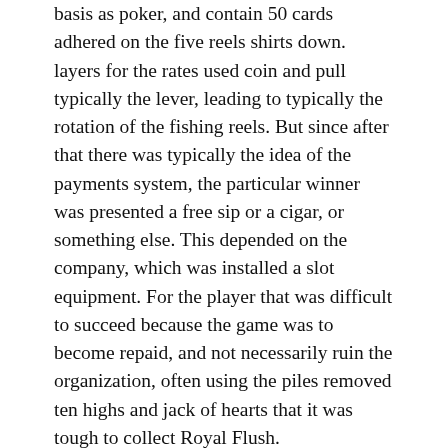basis as poker, and contain 50 cards adhered on the five reels shirts down. layers for the rates used coin and pull typically the lever, leading to typically the rotation of the fishing reels. But since after that there was typically the idea of the payments system, the particular winner was presented a free sip or a cigar, or something else. This depended on the company, which was installed a slot equipment. For the player that was difficult to succeed because the game was to become repaid, and not necessarily ruin the organization, often using the piles removed ten highs and jack of hearts that it was tough to collect Royal Flush.
In 1899 Charles Fey created his slot machines in San Francisco, California. His slots were not therefore complicated, and they called the “Liberty Bell”. His machine acquired 3 rotating carol with five character types to each: diamond, center, horseshoe,